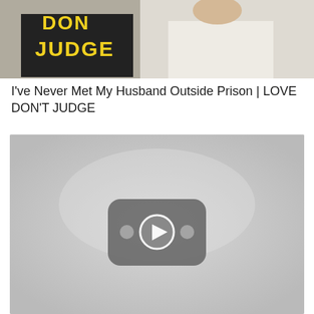[Figure (photo): Top portion of a video thumbnail showing two people, one wearing a black shirt with yellow text reading 'DON'T JUDGE'. Only the upper portion is visible.]
I've Never Met My Husband Outside Prison | LOVE DON'T JUDGE
[Figure (screenshot): A gray video placeholder with a YouTube-style play button icon (rounded rectangle shape with a play triangle and two dots on either side) in the center, indicating an embedded video that hasn't loaded.]